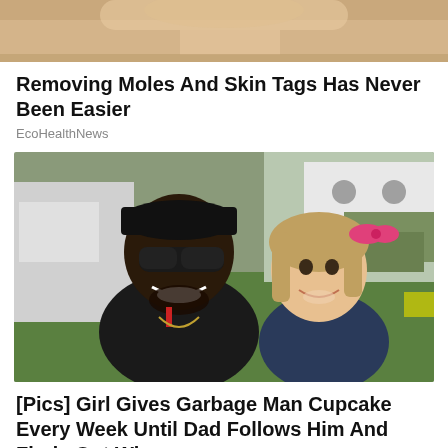[Figure (photo): Cropped top portion of a photo showing a skin/body area, partially visible at top of page]
Removing Moles And Skin Tags Has Never Been Easier
EcoHealthNews
[Figure (photo): A smiling Black man wearing sunglasses and a black cap posing with a young blonde girl who has a pink bow in her hair. Outdoors with green grass and a vehicle in the background.]
[Pics] Girl Gives Garbage Man Cupcake Every Week Until Dad Follows Him And Finds Out Why
HealthyGem